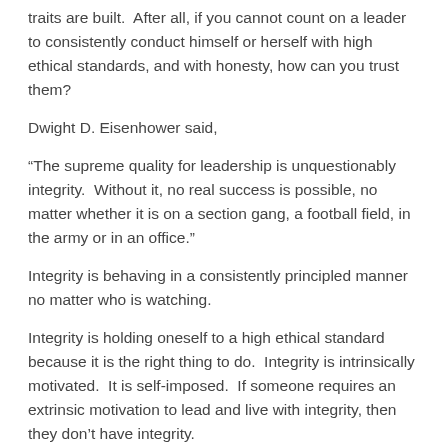traits are built.  After all, if you cannot count on a leader to consistently conduct himself or herself with high ethical standards, and with honesty, how can you trust them?
Dwight D. Eisenhower said,
“The supreme quality for leadership is unquestionably integrity.  Without it, no real success is possible, no matter whether it is on a section gang, a football field, in the army or in an office.”
Integrity is behaving in a consistently principled manner no matter who is watching.
Integrity is holding oneself to a high ethical standard because it is the right thing to do.  Integrity is intrinsically motivated.  It is self-imposed.  If someone requires an extrinsic motivation to lead and live with integrity, then they don’t have integrity.
Leaders with integrity consistently conduct themselves with high ethical standards regardless